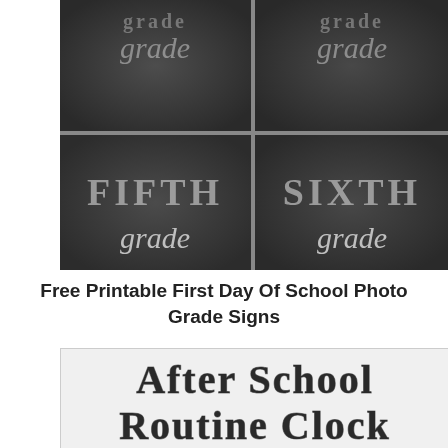[Figure (illustration): Four chalkboard-style grade signs arranged in a 2x2 grid. Top row shows partially visible grade signs (Third/Fourth grade or similar). Bottom row shows 'FIFTH grade' on the left and 'SIXTH grade' on the right, styled as chalk lettering on dark chalkboard backgrounds.]
Free Printable First Day Of School Photo Grade Signs
[Figure (illustration): Light gray/white background sign with bold distressed/textured font reading 'After School Routine Clock']